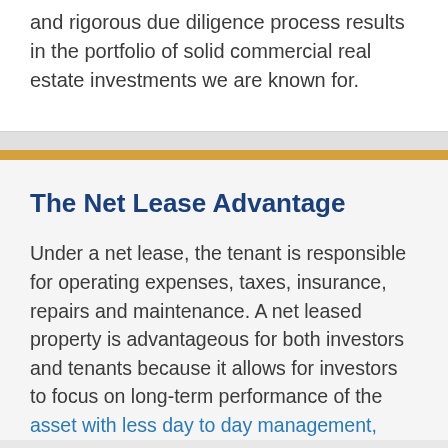and rigorous due diligence process results in the portfolio of solid commercial real estate investments we are known for.
The Net Lease Advantage
Under a net lease, the tenant is responsible for operating expenses, taxes, insurance, repairs and maintenance. A net leased property is advantageous for both investors and tenants because it allows for investors to focus on long-term performance of the asset with less day to day management,